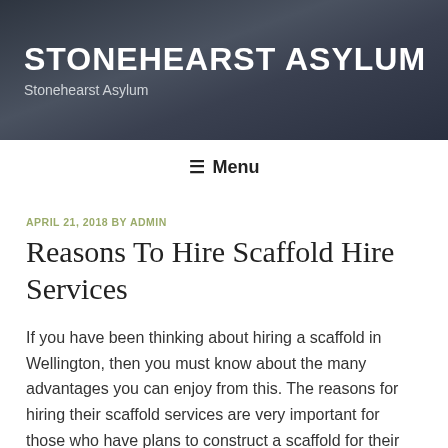STONEHEARST ASYLUM
Stonehearst Asylum
≡ Menu
APRIL 21, 2018 BY ADMIN
Reasons To Hire Scaffold Hire Services
If you have been thinking about hiring a scaffold in Wellington, then you must know about the many advantages you can enjoy from this. The reasons for hiring their scaffold services are very important for those who have plans to construct a scaffold for their